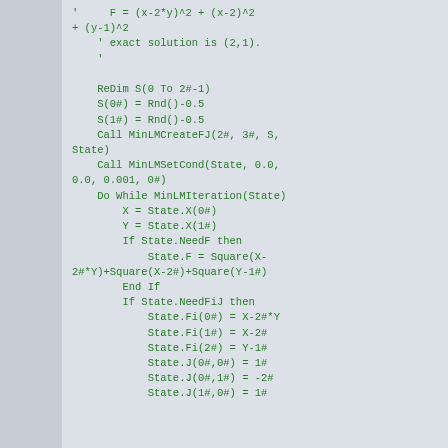[Figure (screenshot): Code snippet in Visual Basic showing Levenberg-Marquardt optimization setup. Contains comments about function F = (x-2*y)^2 + (x-2)^2 + (y-1)^2 with exact solution (2,1), followed by code: ReDim S(0 To 2#-1), S(0#) = Rnd()-0.5, S(1#) = Rnd()-0.5, Call MinLMCreateFJ(2#, 3#, S, State), Call MinLMSetCond(State, 0.0, 0.0, 0.001, 0#), Do While MinLMIteration(State), X = State.X(0#), Y = State.X(1#), If State.NeedF then, State.F = Square(X-2#*Y)+Square(X-2#)+Square(Y-1#), End If, If State.NeedFiJ then, State.Fi(0#) = X-2#*Y, State.Fi(1#) = X-2#, State.Fi(2#) = Y-1#, State.J(0#,0#) = 1#, State.J(0#,1#) = -2#, State.J(1#,0#) = 1#]